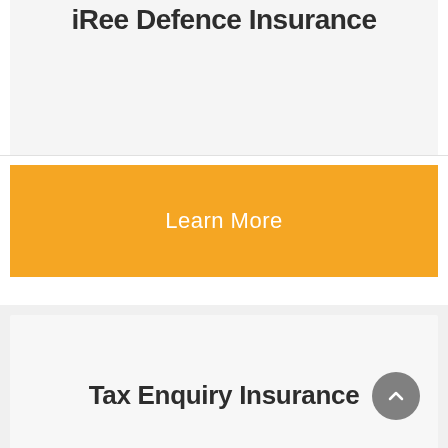iRee Defence Insurance
Learn More
Tax Enquiry Insurance
Learn More
[Figure (other): Scroll to top circular button with upward chevron arrow]